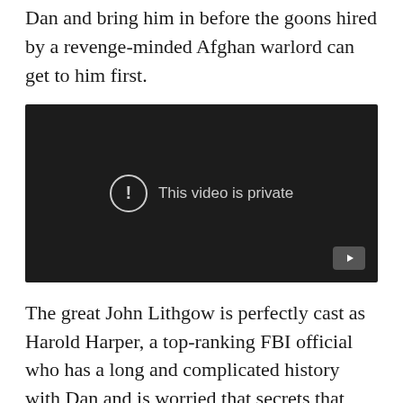Dan and bring him in before the goons hired by a revenge-minded Afghan warlord can get to him first.
[Figure (screenshot): Embedded video player showing 'This video is private' message with a YouTube play button in the bottom right corner. The player background is dark/black.]
The great John Lithgow is perfectly cast as Harold Harper, a top-ranking FBI official who has a long and complicated history with Dan and is worried that secrets that have been buried for decades will resurface, potentially ruining Harold's legacy and everything he's